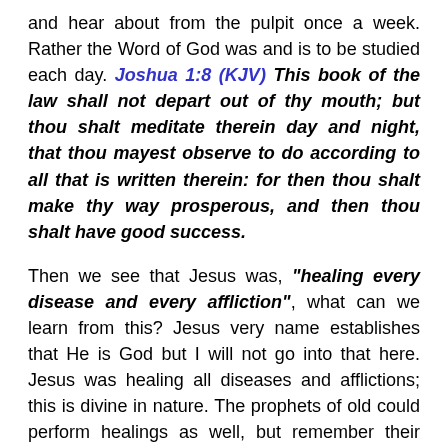and hear about from the pulpit once a week. Rather the Word of God was and is to be studied each day. Joshua 1:8 (KJV) This book of the law shall not depart out of thy mouth; but thou shalt meditate therein day and night, that thou mayest observe to do according to all that is written therein: for then thou shalt make thy way prosperous, and then thou shalt have good success.
Then we see that Jesus was, "healing every disease and every affliction", what can we learn from this? Jesus very name establishes that He is God but I will not go into that here. Jesus was healing all diseases and afflictions; this is divine in nature. The prophets of old could perform healings as well, but remember their power to do so came directly from God; the Holy Spirit was not yet given to the many. In a way it could be said that Jesus